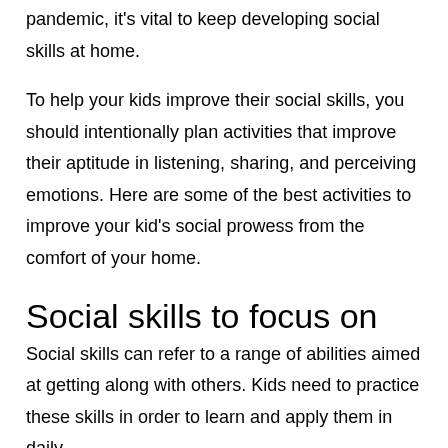pandemic, it's vital to keep developing social skills at home.
To help your kids improve their social skills, you should intentionally plan activities that improve their aptitude in listening, sharing, and perceiving emotions. Here are some of the best activities to improve your kid's social prowess from the comfort of your home.
Social skills to focus on
Social skills can refer to a range of abilities aimed at getting along with others. Kids need to practice these skills in order to learn and apply them in daily